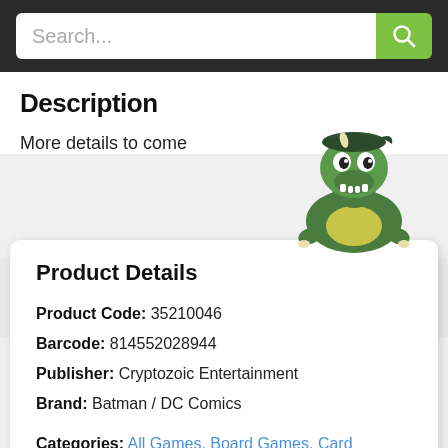Search...
Description
More details to come
[Figure (illustration): Green cartoon dinosaur/dragon mascot peeking over the edge of a panel, smiling, wearing a bandana]
Product Details
Product Code: 35210046
Barcode: 814552028944
Publisher: Cryptozoic Entertainment
Brand: Batman / DC Comics
Categories: All Games, Board Games, Card